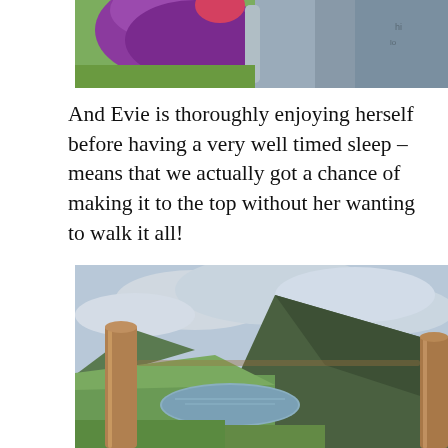[Figure (photo): Partial view of a child in a purple/magenta jacket sitting in a hiking carrier backpack, with grey straps visible. Outdoors on green grass background.]
And Evie is thoroughly enjoying herself before having a very well timed sleep – means that we actually got a chance of making it to the top without her wanting to walk it all!
[Figure (photo): Scenic mountain landscape view from a high vantage point, showing a lake/reservoir below, green valleys, dramatic hillside on the right, wooden fence post in foreground, overcast cloudy sky.]